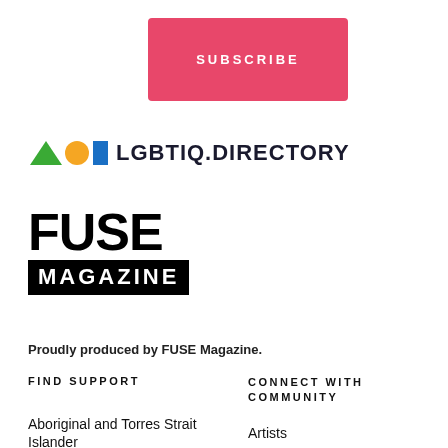[Figure (other): Pink/red SUBSCRIBE button with white uppercase letter-spaced text]
[Figure (logo): LGBTIQ.DIRECTORY logo with green triangle, orange circle, blue square icons followed by bold dark text]
[Figure (logo): FUSE MAGAZINE logo: large black FUSE text above MAGAZINE in white on black bar]
Proudly produced by FUSE Magazine.
FIND SUPPORT
CONNECT WITH COMMUNITY
Aboriginal and Torres Strait Islander
Artists